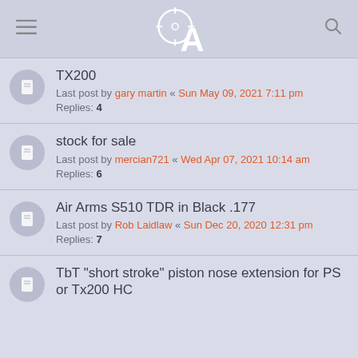Forum header with logo, menu and search icons
TX200
Last post by gary martin « Sun May 09, 2021 7:11 pm
Replies: 4
stock for sale
Last post by mercian721 « Wed Apr 07, 2021 10:14 am
Replies: 6
Air Arms S510 TDR in Black .177
Last post by Rob Laidlaw « Sun Dec 20, 2020 12:31 pm
Replies: 7
TbT "short stroke" piston nose extension for PS or Tx200 HC